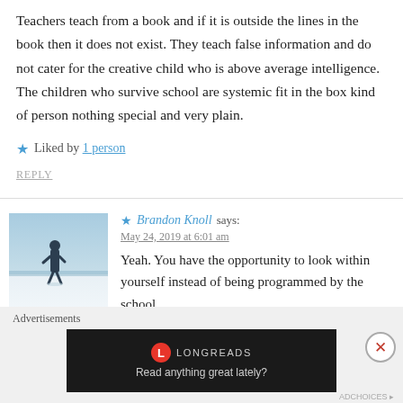Teachers teach from a book and if it is outside the lines in the book then it does not exist. They teach false information and do not cater for the creative child who is above average intelligence. The children who survive school are systemic fit in the box kind of person nothing special and very plain.
★ Liked by 1 person
REPLY
[Figure (photo): Avatar photo of Brandon Knoll showing a person standing outdoors in a snowy/winter landscape]
★ Brandon Knoll says: May 24, 2019 at 6:01 am
Yeah. You have the opportunity to look within yourself instead of being programmed by the school
Advertisements
[Figure (screenshot): Longreads advertisement banner with dark background reading 'Read anything great lately?']